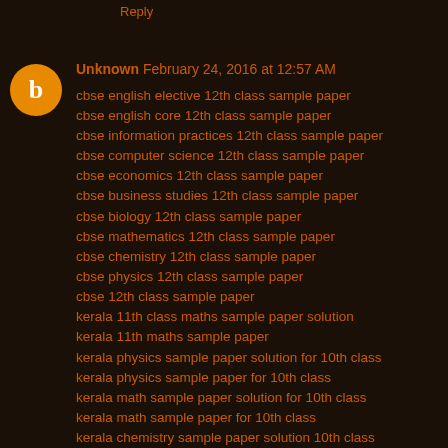Reply
Unknown February 24, 2016 at 12:57 AM
cbse english elective 12th class sample paper
cbse english core 12th class sample paper
cbse information practices 12th class sample paper
cbse computer science 12th class sample paper
cbse economics 12th class sample paper
cbse business studies 12th class sample paper
cbse biology 12th class sample paper
cbse mathematics 12th class sample paper
cbse chemistry 12th class sample paper
cbse physics 12th class sample paper
cbse 12th class sample paper
kerala 11th class maths sample paper solution
kerala 11th maths sample paper
kerala physics sample paper solution for 10th class
kerala physics sample paper for 10th class
kerala math sample paper solution for 10th class
kerala math sample paper for 10th class
kerala chemistry sample paper solution 10th class